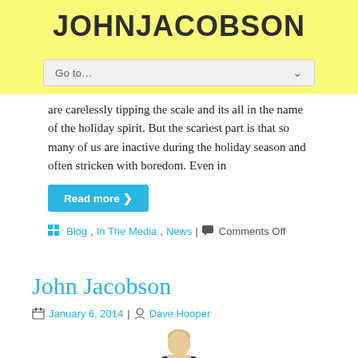JOHNJACOBSON
Go to....
are carelessly tipping the scale and its all in the name of the holiday spirit. But the scariest part is that so many of us are inactive during the holiday season and often stricken with boredom. Even in
Read more ›
Blog, In The Media, News | Comments Off
John Jacobson
January 6, 2014 | Dave Hooper
[Figure (photo): A person standing, partially visible at bottom of page]